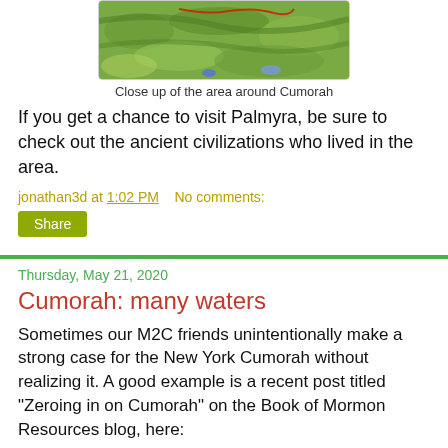[Figure (map): Close up topographic/satellite map of the area around Cumorah, showing green terrain with blue markers]
Close up of the area around Cumorah
If you get a chance to visit Palmyra, be sure to check out the ancient civilizations who lived in the area.
jonathan3d at 1:02 PM    No comments:
Share
Thursday, May 21, 2020
Cumorah: many waters
Sometimes our M2C friends unintentionally make a strong case for the New York Cumorah without realizing it. A good example is a recent post titled "Zeroing in on Cumorah" on the Book of Mormon Resources blog, here:
http://bookofmormonresources.blogspot.com/2020/04/zeroing-in-on-cumorah.html